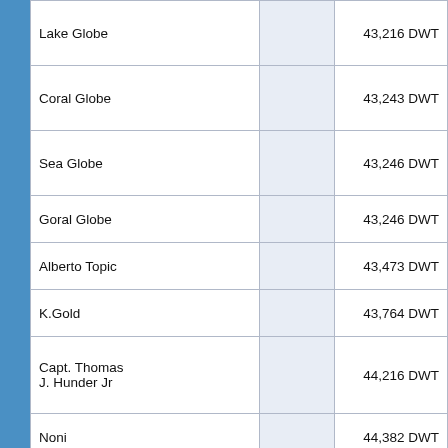| Vessel Name |  | DWT |
| --- | --- | --- |
| Lake Globe |  | 43,216 DWT |
| Coral Globe |  | 43,243 DWT |
| Sea Globe |  | 43,246 DWT |
| Goral Globe |  | 43,246 DWT |
| Alberto Topic |  | 43,473 DWT |
| K.Gold |  | 43,764 DWT |
| Capt. Thomas J. Hunder Jr |  | 44,216 DWT |
| Noni |  | 44,382 DWT |
| Joviality |  | 45,564 DWT |
| New Eminence |  | 45,830 DWT |
| Morning Sky |  | 45,888 DWT |
| Progress II |  | 46,641 DWT |
| Pretty Flourish |  | 46,841 DWT |
| Blest Marine |  | 47,200 DWT |
| Medi Trader |  | 48,220 DWT |
| Bungo Spirit |  | 50,316 DWT |
| Furness Timika |  | 52,508 DWT |
| Triton Eagle |  | 52,579 DWT |
| Bulk Navigator |  | 53,000 DWT |